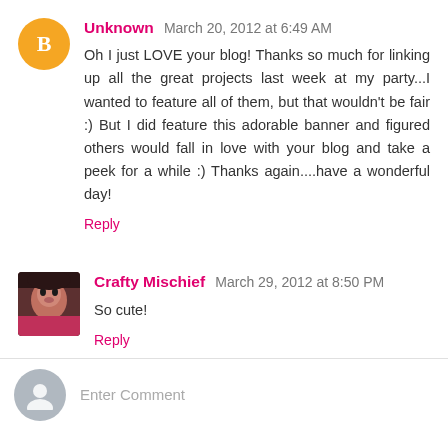Unknown March 20, 2012 at 6:49 AM
Oh I just LOVE your blog! Thanks so much for linking up all the great projects last week at my party...I wanted to feature all of them, but that wouldn't be fair :) But I did feature this adorable banner and figured others would fall in love with your blog and take a peek for a while :) Thanks again....have a wonderful day!
Reply
Crafty Mischief March 29, 2012 at 8:50 PM
So cute!
Reply
Enter Comment